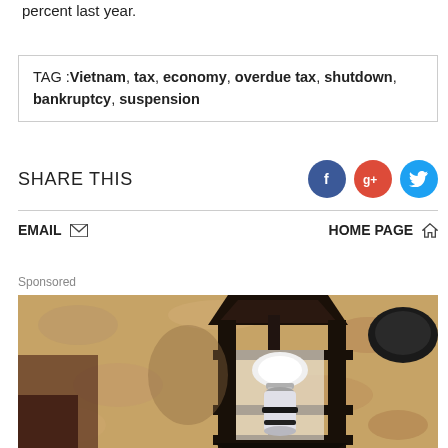percent last year.
TAG : Vietnam, tax, economy, overdue tax, shutdown, bankruptcy, suspension
SHARE THIS
EMAIL
HOME PAGE
Sponsored
[Figure (photo): Close-up photograph of a vintage black metal lantern with a glowing bulb inside, mounted on a textured sandy stone wall]